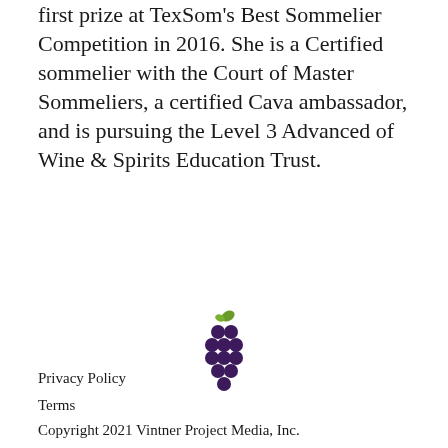first prize at TexSom's Best Sommelier Competition in 2016. She is a Certified sommelier with the Court of Master Sommeliers, a certified Cava ambassador, and is pursuing the Level 3 Advanced of Wine & Spirits Education Trust.
[Figure (logo): Grape cluster logo with purple grapes and green leaf, representing a wine publication brand]
Privacy Policy
Terms
Copyright 2021 Vintner Project Media, Inc.